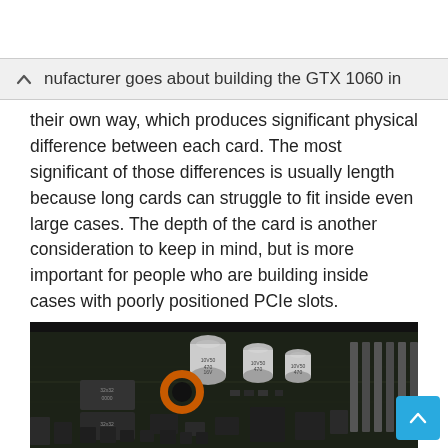manufacturer goes about building the GTX 1060 in
their own way, which produces significant physical difference between each card. The most significant of those differences is usually length because long cards can struggle to fit inside even large cases. The depth of the card is another consideration to keep in mind, but is more important for people who are building inside cases with poorly positioned PCIe slots.
[Figure (photo): Close-up photograph of a graphics card PCB showing electronic components including capacitors, chips, and circuit traces on a dark green/black board]